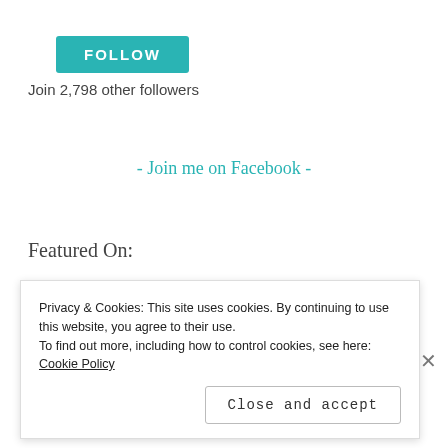[Figure (other): Teal FOLLOW button with white bold text]
Join 2,798 other followers
- Join me on Facebook -
Featured On:
[Figure (logo): HuffPost PARENTS logo - HUFF POST in grey and PARENTS in large purple serif text]
Privacy & Cookies: This site uses cookies. By continuing to use this website, you agree to their use.
To find out more, including how to control cookies, see here: Cookie Policy
Close and accept